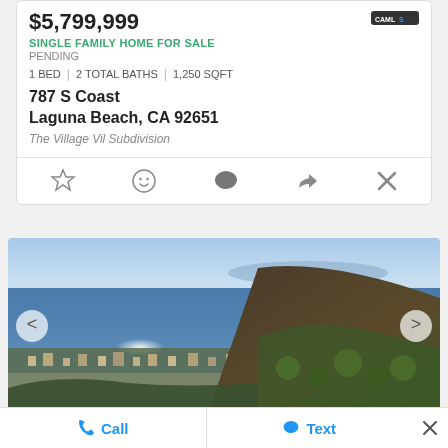$5,799,999
SINGLE FAMILY HOME FOR SALE
PENDING
1 BED | 2 TOTAL BATHS | 1,250 SQFT
787 S Coast
Laguna Beach, CA 92651
The Village Vil Subdivision
[Figure (screenshot): Action icons row: star (favorite), smiley face, speech bubble (comment), share arrow, close X]
[Figure (photo): Aerial/hilltop view of Laguna Beach coastline with ocean, city, and hillside in foreground. Navigation arrows on left and right.]
Call  |  Text  x